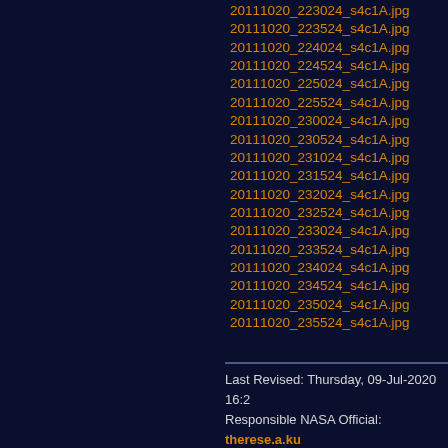20111020_223024_s4c1A.jpg
20111020_223524_s4c1A.jpg
20111020_224024_s4c1A.jpg
20111020_224524_s4c1A.jpg
20111020_225024_s4c1A.jpg
20111020_225524_s4c1A.jpg
20111020_230024_s4c1A.jpg
20111020_230524_s4c1A.jpg
20111020_231024_s4c1A.jpg
20111020_231524_s4c1A.jpg
20111020_232024_s4c1A.jpg
20111020_232524_s4c1A.jpg
20111020_233024_s4c1A.jpg
20111020_233524_s4c1A.jpg
20111020_234024_s4c1A.jpg
20111020_234524_s4c1A.jpg
20111020_235024_s4c1A.jpg
20111020_235524_s4c1A.jpg
Last Revised: Thursday, 09-Jul-2020 16:2
Responsible NASA Official: therese.a.ku
Privacy Policy and Important Notices
Webmaster: Kevin Addison